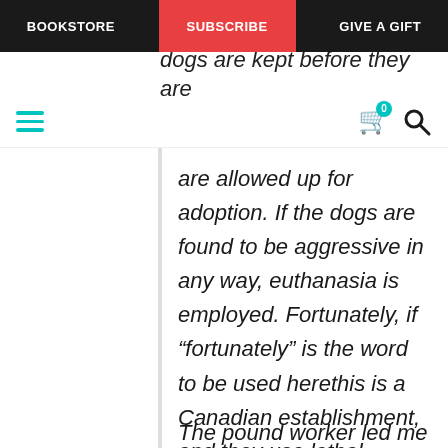BOOKSTORE | SUBSCRIBE | GIVE A GIFT
dogs are kept before they are
are allowed up for adoption. If the dogs are found to be aggressive in any way, euthanasia is employed. Fortunately, if “fortunately” is the word to be used herethis is a Canadian establishment, and they use lethal injection, not a gas chamber.
The pound worker led me past a